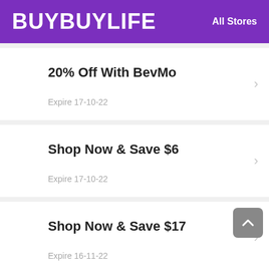BUYBUYLIFE   All Stores
20% Off With BevMo
Expire 17-10-22
Shop Now & Save $6
Expire 17-10-22
Shop Now & Save $17
Expire 16-11-22